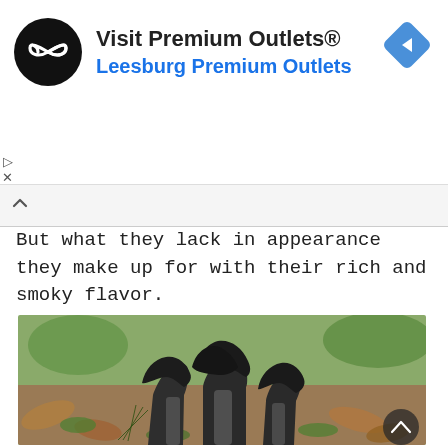[Figure (screenshot): Advertisement banner for 'Visit Premium Outlets® — Leesburg Premium Outlets' with black circular logo with infinity symbol, a blue navigation diamond icon on the right, and ad control icons (play/close) on the left.]
But what they lack in appearance they make up for with their rich and smoky flavor.
[Figure (photo): Close-up photograph of dark black/grey trumpet-shaped mushrooms (black trumpet or horn of plenty mushrooms) growing among green moss and dry leaves on a forest floor.]